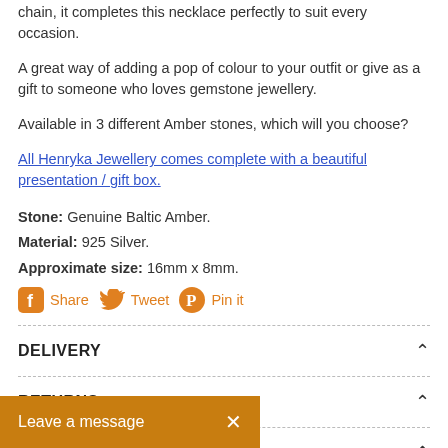chain, it completes this necklace perfectly to suit every occasion.
A great way of adding a pop of colour to your outfit or give as a gift to someone who loves gemstone jewellery.
Available in 3 different Amber stones, which will you choose?
All Henryka Jewellery comes complete with a beautiful presentation / gift box.
Stone: Genuine Baltic Amber.
Material: 925 Silver.
Approximate size: 16mm x 8mm.
Share  Tweet  Pin it
DELIVERY
RETURNS
FAQ
Leave a message  ×